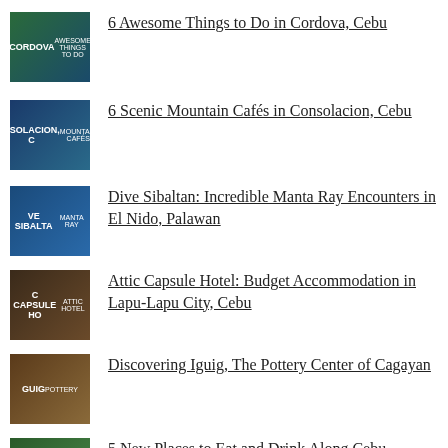6 Awesome Things to Do in Cordova, Cebu
6 Scenic Mountain Cafés in Consolacion, Cebu
Dive Sibaltan: Incredible Manta Ray Encounters in El Nido, Palawan
Attic Capsule Hotel: Budget Accommodation in Lapu-Lapu City, Cebu
Discovering Iguig, The Pottery Center of Cagayan
5 New Places to Eat and Drink Along Cebu Transcentral Highway
5 New Places to Eat and Drink in Cordova,